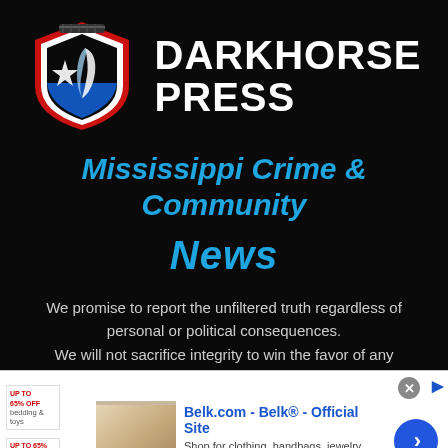[Figure (logo): Darkhorse Press logo: shield with star and stylized D/P letter mark in red, white, black and blue, with text DARKHORSE PRESS in bold white]
Mississippi Crime & Community News
We promise to report the unfiltered truth regardless of personal or political consequences. We will not sacrifice integrity to win the favor of any audience.
[Figure (other): Belk.com advertisement banner showing bedding product image, title 'Belk.com - Belk® - Official Site', description 'Shop for clothing, handbags, jewelry, beauty, home & more!', URL www.belk.com, with navigation arrow button]